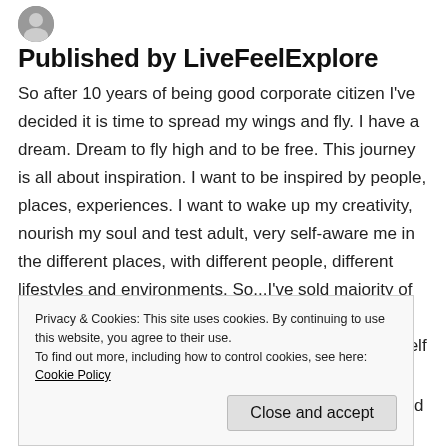[Figure (photo): Small circular avatar/logo image in the top left corner]
Published by LiveFeelExplore
So after 10 years of being good corporate citizen I've decided it is time to spread my wings and fly. I have a dream. Dream to fly high and to be free. This journey is all about inspiration. I want to be inspired by people, places, experiences. I want to wake up my creativity, nourish my soul and test adult, very self-aware me in the different places, with different people, different lifestyles and environments. So...I've sold majority of my things, made myself unemployed and kind of homeless and started this adventure. I'm giving myself the luxury of time. No rush, no
Privacy & Cookies: This site uses cookies. By continuing to use this website, you agree to their use.
To find out more, including how to control cookies, see here: Cookie Policy
luck, wisdom and open mind so I can see, understand and